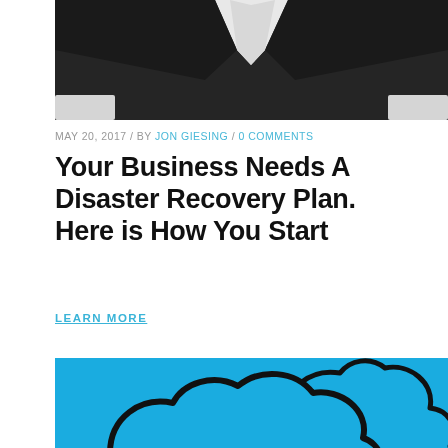[Figure (photo): Top portion of a person in a dark business suit, cropped to show torso/chest area with white shirt collar visible]
MAY 20, 2017 / BY [AUTHOR] / 0 COMMENTS
Your Business Needs A Disaster Recovery Plan. Here is How You Start
LEARN MORE
[Figure (illustration): Cloud computing illustration: two overlapping cloud icons drawn with thick black outlines on a bright blue background]